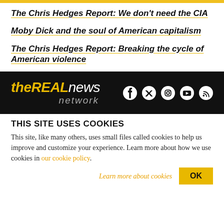The Chris Hedges Report: We don't need the CIA
Moby Dick and the soul of American capitalism
The Chris Hedges Report: Breaking the cycle of American violence
[Figure (logo): The Real News Network logo with social media icons (Facebook, Twitter, Instagram, YouTube, RSS) on black background]
THIS SITE USES COOKIES
This site, like many others, uses small files called cookies to help us improve and customize your experience. Learn more about how we use cookies in our cookie policy.
Learn more about cookies    OK